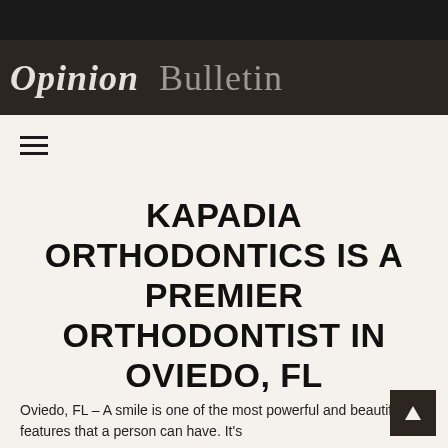Opinion Bulletin
KAPADIA ORTHODONTICS IS A PREMIER ORTHODONTIST IN OVIEDO, FL
Oviedo, FL – A smile is one of the most powerful and beautiful features that a person can have. It's